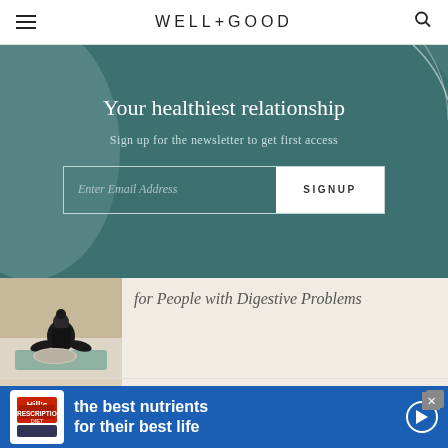WELL+GOOD
Your healthiest relationship
Sign up for the newsletter to get first access
Enter Email Address  SIGNUP
for People with Digestive Problems
[Figure (photo): Woman sitting in yoga meditation pose on a mat]
If you have IBS, follow these 4 rules to keep fiber from...
[Figure (photo): Person preparing or arranging food, salad items]
[Figure (photo): Hill's pet food advertisement banner: the best nutrients for their best life]